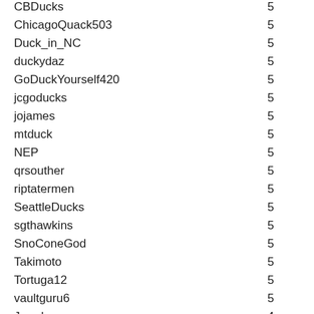| Username | Count |
| --- | --- |
| CBDucks | 5 |
| ChicagoQuack503 | 5 |
| Duck_in_NC | 5 |
| duckydaz | 5 |
| GoDuckYourself420 | 5 |
| jcgoducks | 5 |
| jojames | 5 |
| mtduck | 5 |
| NEP | 5 |
| qrsouther | 5 |
| riptatermen | 5 |
| SeattleDucks | 5 |
| sgthawkins | 5 |
| SnoConeGod | 5 |
| Takimoto | 5 |
| Tortuga12 | 5 |
| vaultguru6 | 5 |
| Jared | 4 |